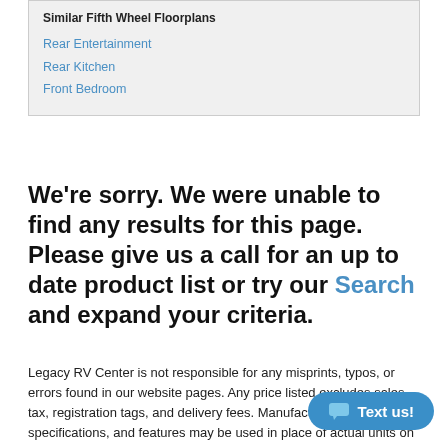Similar Fifth Wheel Floorplans
Rear Entertainment
Rear Kitchen
Front Bedroom
We're sorry. We were unable to find any results for this page. Please give us a call for an up to date product list or try our Search and expand your criteria.
Legacy RV Center is not responsible for any misprints, typos, or errors found in our website pages. Any price listed excludes sales tax, registration tags, and delivery fees. Manufacturer pictures, specifications, and features may be used in place of actual units on our lot. Please call us @573-358-7878 for availability as our inventory changes rapidly. All calculated payments are an